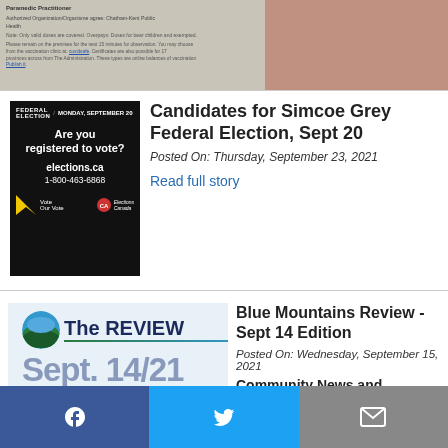[Figure (screenshot): Partial visible top of a document/card with text about Paramedic Practitioner and Authorized Organization, partially visible with a hand image on the right]
[Figure (screenshot): Elections Canada ad - Federal Election Monday September 20, Are you registered to vote? elections.ca 1-800-463-6868, Vote Our Vote, Elections Canada logo]
Candidates for Simcoe Grey Federal Election, Sept 20
Posted On: Thursday, September 23, 2021
Read full story
[Figure (logo): The REVIEW newspaper logo with circular landscape icon and blue/green color scheme, Sept. 14/21 date text below]
Blue Mountains Review - Sept 14 Edition
Posted On: Wednesday, September 15, 2021
Community News and
Facebook | Twitter | Email share buttons